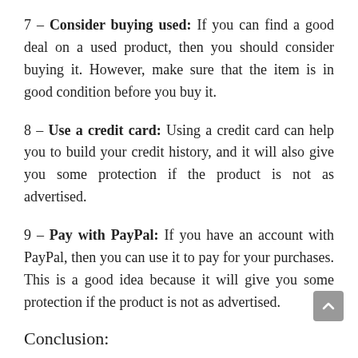7 – Consider buying used: If you can find a good deal on a used product, then you should consider buying it. However, make sure that the item is in good condition before you buy it.
8 – Use a credit card: Using a credit card can help you to build your credit history, and it will also give you some protection if the product is not as advertised.
9 – Pay with PayPal: If you have an account with PayPal, then you can use it to pay for your purchases. This is a good idea because it will give you some protection if the product is not as advertised.
Conclusion: